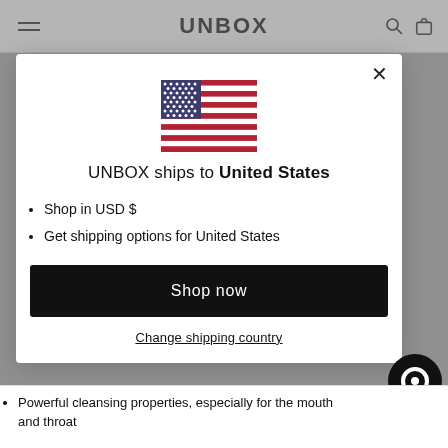UNBOX
[Figure (illustration): US flag emoji/illustration shown inside modal dialog]
UNBOX ships to United States
Shop in USD $
Get shipping options for United States
Shop now
Change shipping country
Powerful cleansing properties, especially for the mouth and throat